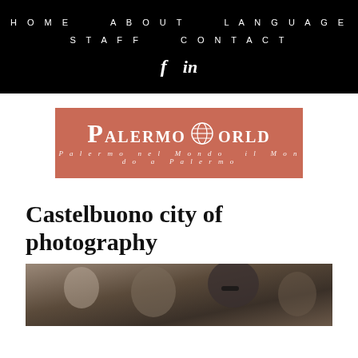HOME   ABOUT   LANGUAGE   STAFF   CONTACT
[Figure (logo): Palermo World logo on salmon/terracotta background with globe icon replacing the 'O' in WORLD. Subtitle reads: Palermo nel Mondo  il Mondo a Palermo]
Castelbuono city of photography
[Figure (photo): Photograph showing a group of people outdoors, partially cropped at the bottom of the page]